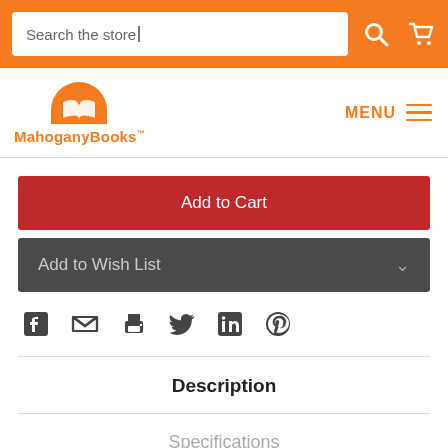Search the store
[Figure (logo): MahoganyBooks logo with orange half-circle and open book icon above the text MahoganyBooks]
Add to Cart
Add to Wish List
[Figure (infographic): Social sharing icons: Facebook, Email, Print, Twitter, LinkedIn, Pinterest]
Description
Specifications